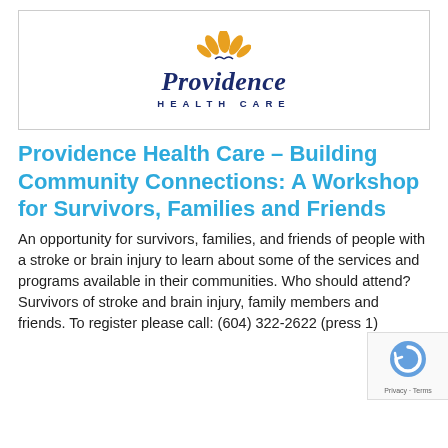[Figure (logo): Providence Health Care logo — orange lotus/leaf icon above the text 'Providence' in italic navy serif font, with 'HEALTH CARE' in spaced navy sans-serif capitals below, all inside a light-bordered rectangle]
Providence Health Care – Building Community Connections: A Workshop for Survivors, Families and Friends
An opportunity for survivors, families, and friends of people with a stroke or brain injury to learn about some of the services and programs available in their communities. Who should attend? Survivors of stroke and brain injury, family members and friends. To register please call: (604) 322-2622 (press 1)